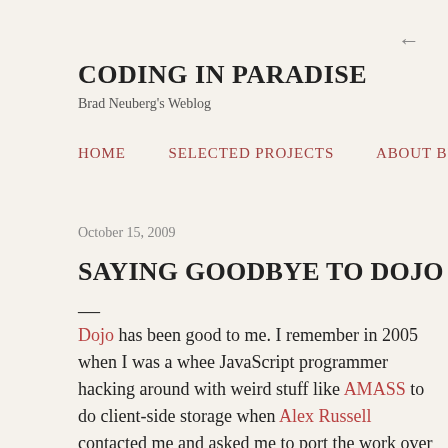←
CODING IN PARADISE
Brad Neuberg's Weblog
HOME   SELECTED PROJECTS   ABOUT BRAD NEU
October 15, 2009
SAYING GOODBYE TO DOJO
—
Dojo has been good to me. I remember in 2005 when I was a whee JavaScript programmer hacking around with weird stuff like AMASS to do client-side storage when Alex Russell contacted me and asked me to port the work over to Dojo. I was blown away; what an opportunity! I had heard of Dojo but never thought I